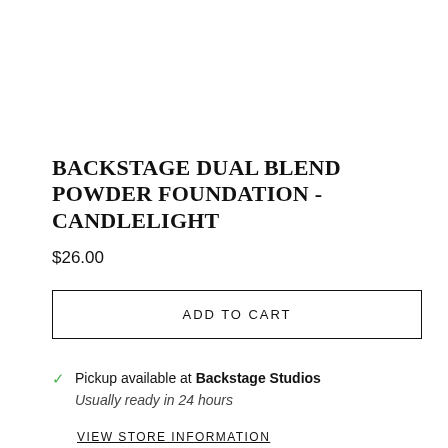BACKSTAGE DUAL BLEND POWDER FOUNDATION - CANDLELIGHT
$26.00
ADD TO CART
Pickup available at Backstage Studios
Usually ready in 24 hours
VIEW STORE INFORMATION